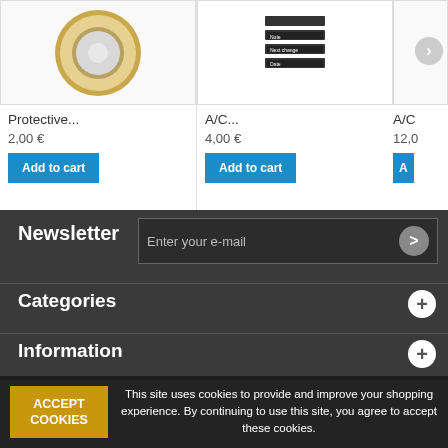[Figure (photo): Tape roll / protective film product image]
Protective...
2,00 €
Add to cart
[Figure (screenshot): A/C product with form fields (Note, Next change, Date)]
A/C...
4,00 €
Add to cart
[Figure (photo): A/C product partially visible on right edge]
A/C
12,0
A
Newsletter
Enter your e-mail
Categories
Information
ACCEPT COOKIES
This site uses cookies to provide and improve your shopping experience. By continuing to use this site, you agree to accept these cookies.